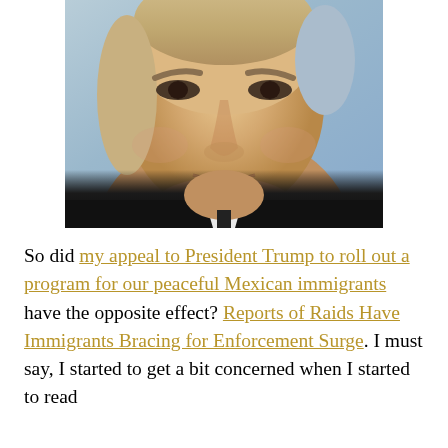[Figure (photo): Close-up portrait photo of a man with blond/grey hair wearing a dark suit and white shirt, looking directly at camera with a serious expression. Light blue sky background visible.]
So did my appeal to President Trump to roll out a program for our peaceful Mexican immigrants have the opposite effect? Reports of Raids Have Immigrants Bracing for Enforcement Surge. I must say, I started to get a bit concerned when I started to read